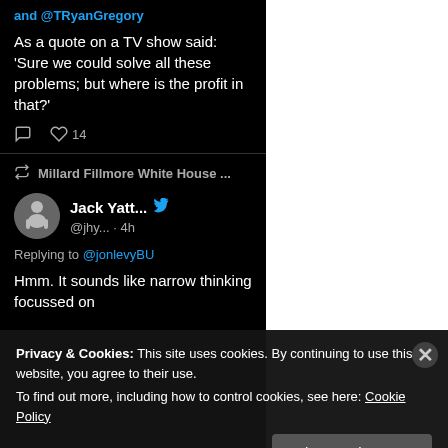and @TRyanGregory
As a quote on a TV show said: 'Sure we could solve all these problems; but where is the profit in that?'
14 likes
Millard Fillmore White House ...
Jack Yatt... @jhy... · 4h
Replying to @jonlevyBU
Hmm. It sounds like narrow thinking focussed on
Privacy & Cookies: This site uses cookies. By continuing to use this website, you agree to their use.
To find out more, including how to control cookies, see here: Cookie Policy
Close and accept